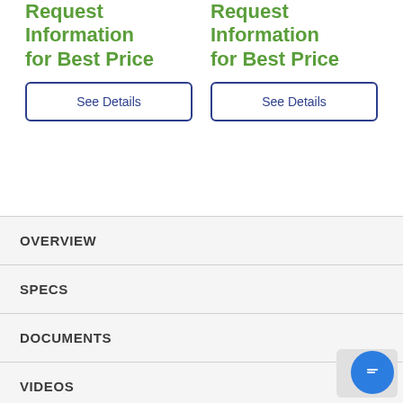Request Information for Best Price
Request Information for Best Price
See Details
See Details
OVERVIEW
SPECS
DOCUMENTS
VIDEOS
DELIVERY